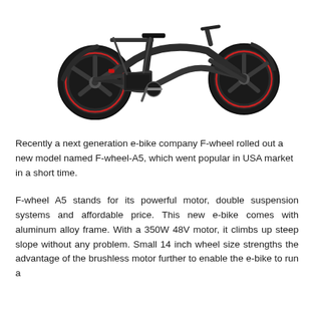[Figure (photo): Photo of a dark grey/black electric bicycle (F-wheel A5) showing the bike from the side, with two large wheels with red accents, a step-through frame, battery pack, and rear rack. The image is cropped showing the rear wheel on the left portion and the front wheel on the right.]
Recently a next generation e-bike company F-wheel rolled out a new model named F-wheel-A5, which went popular in USA market in a short time.
F-wheel A5 stands for its powerful motor, double suspension systems and affordable price. This new e-bike comes with aluminum alloy frame. With a 350W 48V motor, it climbs up steep slope without any problem. Small 14 inch wheel size strengths the advantage of the brushless motor further to enable the e-bike to run a